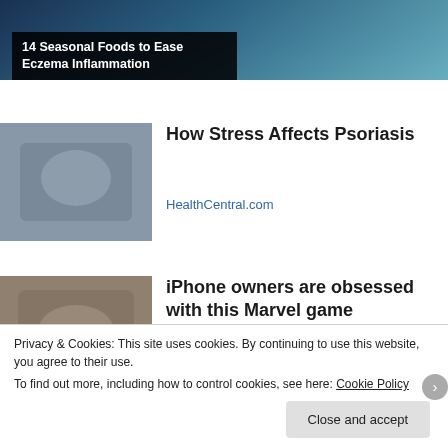[Figure (photo): Top banner image with dark blue background, food/health related image]
14 Seasonal Foods to Ease Eczema Inflammation
[Figure (photo): Thumbnail image for How Stress Affects Psoriasis article]
How Stress Affects Psoriasis
HealthCentral.com
[Figure (photo): Thumbnail image for iPhone owners Marvel game article]
iPhone owners are obsessed with this Marvel game
Privacy & Cookies: This site uses cookies. By continuing to use this website, you agree to their use.
To find out more, including how to control cookies, see here: Cookie Policy
Close and accept